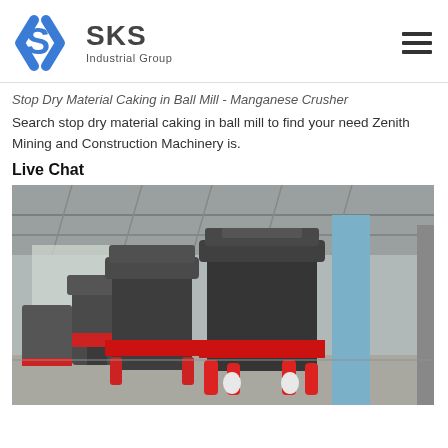[Figure (logo): SKS Industrial Group logo with blue angular arrow/shield icon and bold dark-gray text 'SKS Industrial Group']
Stop Dry Material Caking in Ball Mill - Manganese Crusher
Search stop dry material caking in ball mill to find your need Zenith Mining and Construction Machinery is.
Live Chat
[Figure (photo): Industrial factory floor showing multiple large cone crushers (mining machinery) with black and red cylindrical components arranged in a warehouse setting with steel roof structure visible above.]